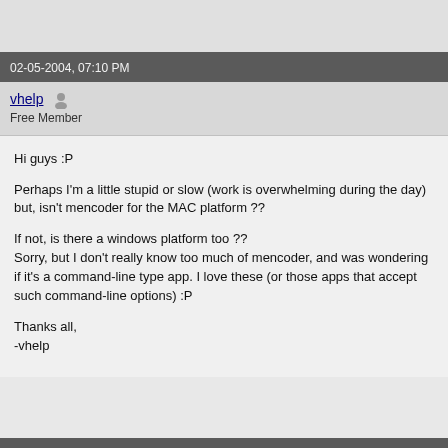02-05-2004, 07:10 PM
vhelp
Free Member
Hi guys :P

Perhaps I'm a little stupid or slow (work is overwhelming during the day) but, isn't mencoder for the MAC platform ??

If not, is there a windows platform too ??
Sorry, but I don't really know too much of mencoder, and was wondering if it's a command-line type app. I love these (or those apps that accept such command-line options) :P

Thanks all,
-vhelp